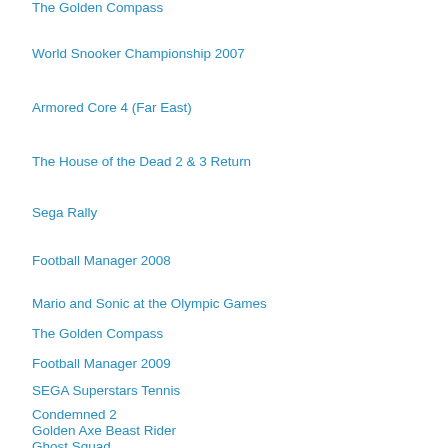The Golden Compass
World Snooker Championship 2007
Armored Core 4 (Far East)
The House of the Dead 2 & 3 Return
Sega Rally
Football Manager 2008
Mario and Sonic at the Olympic Games
The Golden Compass
Football Manager 2009
SEGA Superstars Tennis
Condemned 2
Golden Axe Beast Rider
Ghost Squad